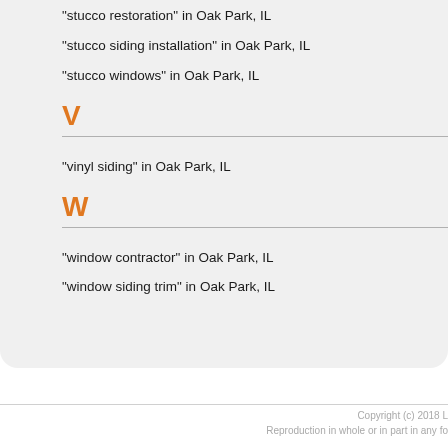"stucco restoration" in Oak Park, IL
"stucco siding installation" in Oak Park, IL
"stucco windows" in Oak Park, IL
V
"vinyl siding" in Oak Park, IL
W
"window contractor" in Oak Park, IL
"window siding trim" in Oak Park, IL
Copyright (c) 2018 L
Reproduction in whole or in part in any fo